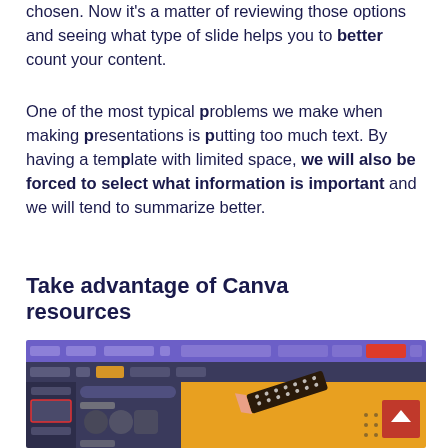chosen. Now it's a matter of reviewing those options and seeing what type of slide helps you to better count your content.
One of the most typical problems we make when making presentations is putting too much text. By having a template with limited space, we will also be forced to select what information is important and we will tend to summarize better.
Take advantage of Canva resources
[Figure (screenshot): Screenshot of the Canva interface showing a presentation editor with a dark left sidebar (brand assets, shapes, stickers panels visible) and a canvas area with a yellow/orange slide background showing a partially visible 3D pencil or ruler illustration with polka dot pattern.]